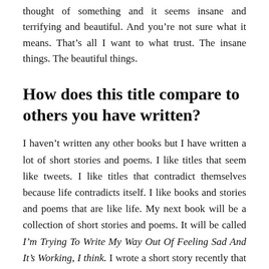thought of something and it seems insane and terrifying and beautiful. And you’re not sure what it means. That’s all I want to what trust. The insane things. The beautiful things.
How does this title compare to others you have written?
I haven’t written any other books but I have written a lot of short stories and poems. I like titles that seem like tweets. I like titles that contradict themselves because life contradicts itself. I like books and stories and poems that are like life. My next book will be a collection of short stories and poems. It will be called I’m Trying To Write My Way Out Of Feeling Sad And It’s Working, I think. I wrote a short story recently that came from a very emotional/dark place. The short story ends with hope though. I feel it’s important for stories to have hope. We need hope in this world.